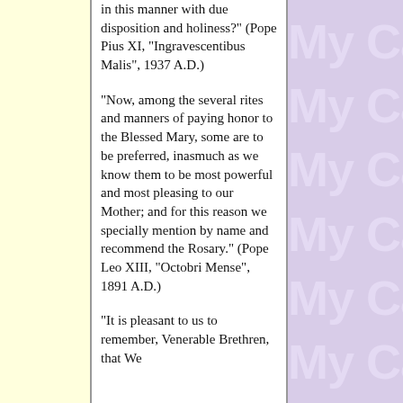in this manner with due disposition and holiness?" (Pope Pius XI, "Ingravescentibus Malis", 1937 A.D.)
"Now, among the several rites and manners of paying honor to the Blessed Mary, some are to be preferred, inasmuch as we know them to be most powerful and most pleasing to our Mother; and for this reason we specially mention by name and recommend the Rosary." (Pope Leo XIII, "Octobri Mense", 1891 A.D.)
"It is pleasant to us to remember, Venerable Brethren, that We